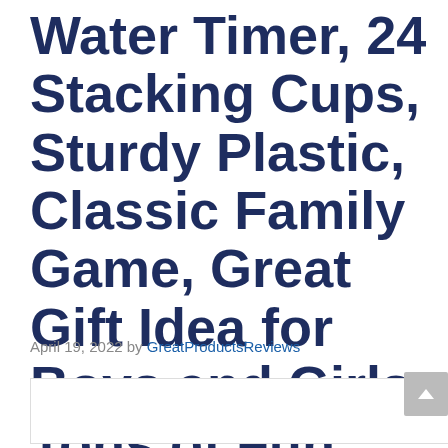Water Timer, 24 Stacking Cups, Sturdy Plastic, Classic Family Game, Great Gift Idea for Boys and Girls, Tons of Fun
April 19, 2022 by GreatProductsReviews
[Figure (other): Bottom portion of a product image, partially visible at the bottom of the page]